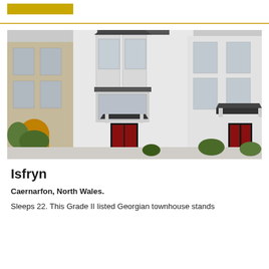[Figure (photo): Exterior photo of Isfryn, a Georgian townhouse in Caernarfon, North Wales. White-painted Georgian terraced buildings with sash windows, bay window feature, slate-roofed porches, red front doors, and greenery at the base.]
Isfryn
Caernarfon, North Wales.
Sleeps 22. This Grade II listed Georgian townhouse stands